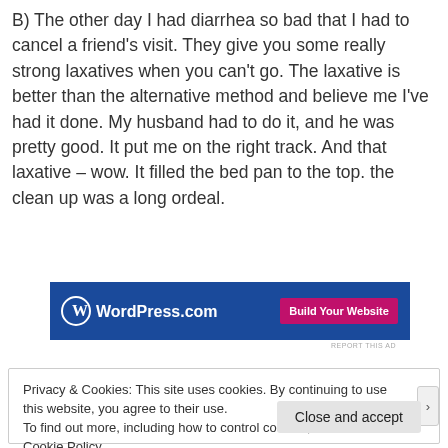B) The other day I had diarrhea so bad that I had to cancel a friend's visit. They give you some really strong laxatives when you can't go. The laxative is better than the alternative method and believe me I've had it done. My husband had to do it, and he was pretty good. It put me on the right track. And that laxative – wow. It filled the bed pan to the top. the clean up was a long ordeal.
[Figure (other): WordPress.com advertisement banner with blue background, WordPress logo and 'Build Your Website' pink button]
Privacy & Cookies: This site uses cookies. By continuing to use this website, you agree to their use.
To find out more, including how to control cookies, see here: Cookie Policy
Close and accept